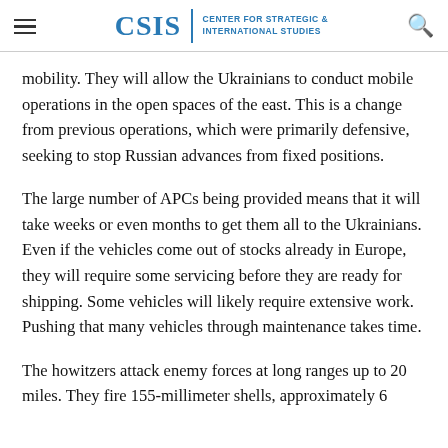CSIS | CENTER FOR STRATEGIC & INTERNATIONAL STUDIES
mobility. They will allow the Ukrainians to conduct mobile operations in the open spaces of the east. This is a change from previous operations, which were primarily defensive, seeking to stop Russian advances from fixed positions.
The large number of APCs being provided means that it will take weeks or even months to get them all to the Ukrainians. Even if the vehicles come out of stocks already in Europe, they will require some servicing before they are ready for shipping. Some vehicles will likely require extensive work. Pushing that many vehicles through maintenance takes time.
The howitzers attack enemy forces at long ranges up to 20 miles. They fire 155-millimeter shells, approximately 6 inches in diameter. NATO standard shells c...